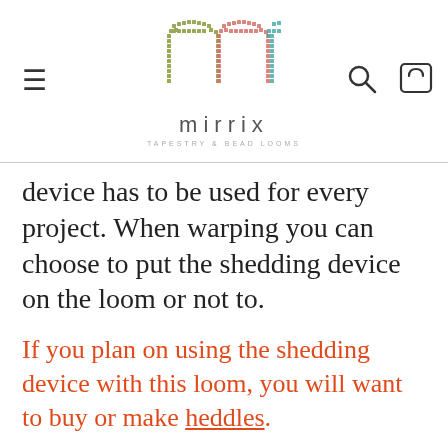[Figure (logo): Mirrix Tapestry & Bead Looms logo — colorful pixelated 'm' letter mark above the word 'mirrix' with tagline 'TAPESTRY & BEAD LOOMS']
device has to be used for every project. When warping you can choose to put the shedding device on the loom or not to.
If you plan on using the shedding device with this loom, you will want to buy or make heddles.
Available accessories: Bottom Spring